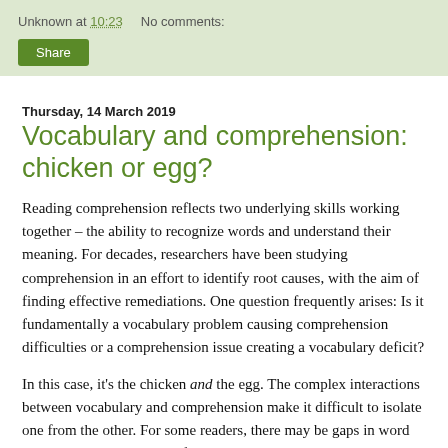Unknown at 10:23    No comments:
Share
Thursday, 14 March 2019
Vocabulary and comprehension: chicken or egg?
Reading comprehension reflects two underlying skills working together – the ability to recognize words and understand their meaning. For decades, researchers have been studying comprehension in an effort to identify root causes, with the aim of finding effective remediations. One question frequently arises: Is it fundamentally a vocabulary problem causing comprehension difficulties or a comprehension issue creating a vocabulary deficit?
In this case, it's the chicken and the egg. The complex interactions between vocabulary and comprehension make it difficult to isolate one from the other. For some readers, there may be gaps in word recognition. Others lack inferencing strategies to glean the